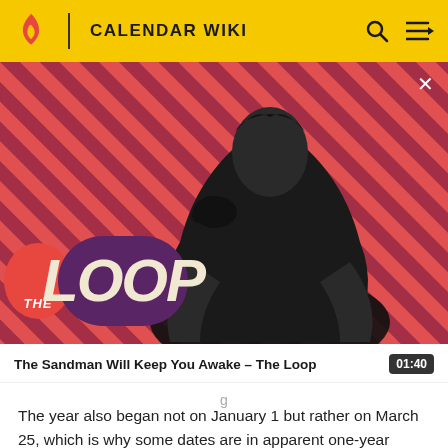CALENDAR WIKI
[Figure (screenshot): Video thumbnail for 'The Sandman Will Keep You Awake - The Loop' showing a dark figure in black with a raven on shoulder, against a red diagonal striped background with 'THE LOOP' text overlay]
The Sandman Will Keep You Awake - The Loop  01:40
g
The year also began not on January 1 but rather on March 25, which is why some dates are in apparent one-year discrepancy. For example, a birth date of March 10, 1552